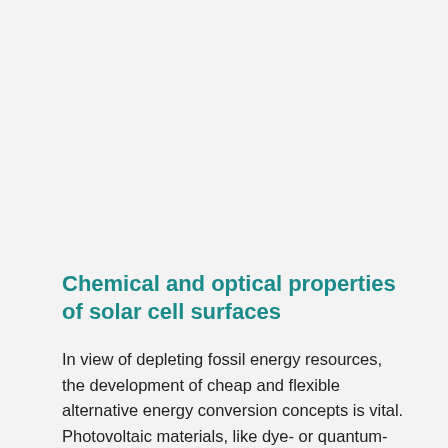Chemical and optical properties of solar cell surfaces
In view of depleting fossil energy resources, the development of cheap and flexible alternative energy conversion concepts is vital. Photovoltaic materials, like dye- or quantum-dot sensitized surfaces, or perovskites, that transform sunlight into electricity are a prime